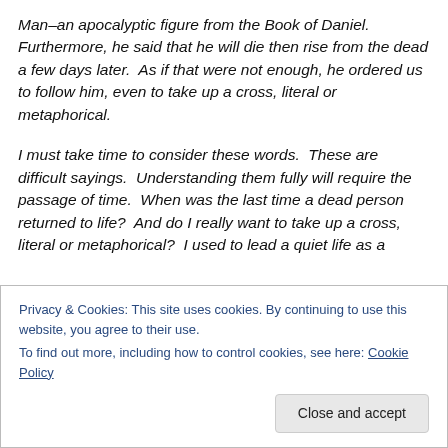Man–an apocalyptic figure from the Book of Daniel.  Furthermore, he said that he will die then rise from the dead a few days later.  As if that were not enough, he ordered us to follow him, even to take up a cross, literal or metaphorical.
I must take time to consider these words.  These are difficult sayings.  Understanding them fully will require the passage of time.  When was the last time a dead person returned to life?  And do I really want to take up a cross, literal or metaphorical?  I used to lead a quiet life as a
Privacy & Cookies: This site uses cookies. By continuing to use this website, you agree to their use.
To find out more, including how to control cookies, see here: Cookie Policy